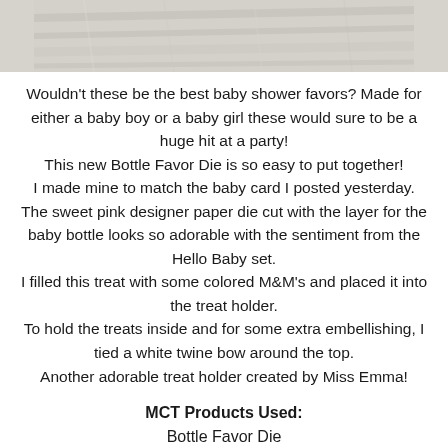[Figure (photo): Top portion of a photo showing wooden surface/planks in light grey tones]
Wouldn't these be the best baby shower favors? Made for either a baby boy or a baby girl these would sure to be a huge hit at a party!
This new Bottle Favor Die is so easy to put together!
I made mine to match the baby card I posted yesterday.
The sweet pink designer paper die cut with the layer for the baby bottle looks so adorable with the sentiment from the Hello Baby set.
I filled this treat with some colored M&M's and placed it into the treat holder.
To hold the treats inside and for some extra embellishing, I tied a white twine bow around the top.
Another adorable treat holder created by Miss Emma!
MCT Products Used:
Bottle Favor Die
Hello Baby
***Sneak Peek giveaway!***
We will be giving away the sets we are showcasing each day to ONE lucky winner! For example, the set we are